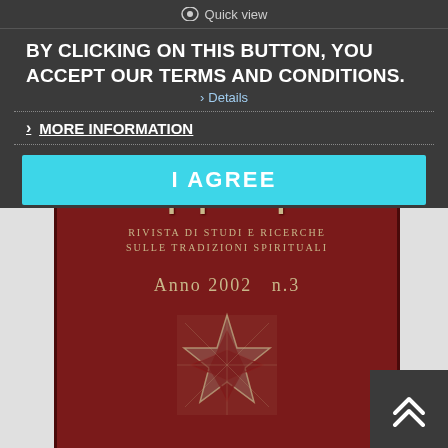Quick view
BY CLICKING ON THIS BUTTON, YOU ACCEPT OUR TERMS AND CONDITIONS.
> Details
> MORE INFORMATION
I AGREE
[Figure (photo): Book cover of Symmetria journal - red cover with Greek title Συμμετρια, subtitle RIVISTA DI STUDI E RICERCHE SULLE TRADIZIONI SPIRITUALI, Anno 2002 n.3, with geometric star ornament at bottom]